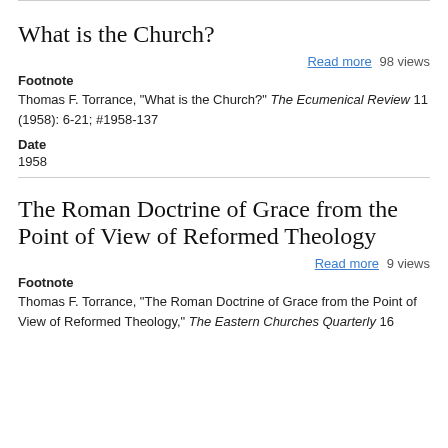What is the Church?
Read more  98 views
Footnote
Thomas F. Torrance, "What is the Church?" The Ecumenical Review 11 (1958): 6-21; #1958-137
Date
1958
The Roman Doctrine of Grace from the Point of View of Reformed Theology
Read more  9 views
Footnote
Thomas F. Torrance, "The Roman Doctrine of Grace from the Point of View of Reformed Theology," The Eastern Churches Quarterly 16